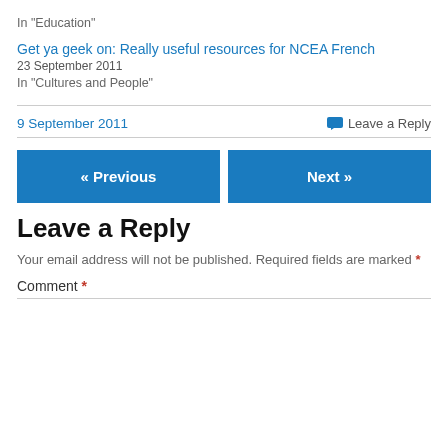In "Education"
Get ya geek on: Really useful resources for NCEA French
23 September 2011
In "Cultures and People"
9 September 2011
Leave a Reply
« Previous
Next »
Leave a Reply
Your email address will not be published. Required fields are marked *
Comment *